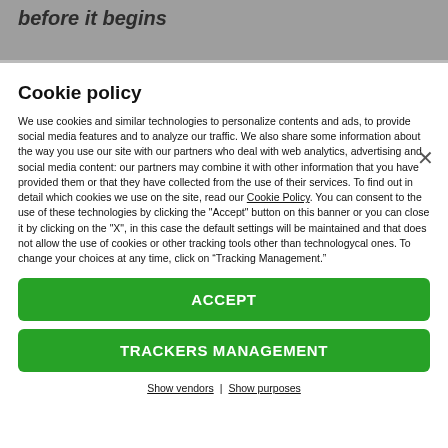before it begins
Cookie policy
We use cookies and similar technologies to personalize contents and ads, to provide social media features and to analyze our traffic. We also share some information about the way you use our site with our partners who deal with web analytics, advertising and social media content: our partners may combine it with other information that you have provided them or that they have collected from the use of their services. To find out in detail which cookies we use on the site, read our Cookie Policy. You can consent to the use of these technologies by clicking the "Accept" button on this banner or you can close it by clicking on the "X", in this case the default settings will be maintained and that does not allow the use of cookies or other tracking tools other than technologycal ones. To change your choices at any time, click on “Tracking Management.”
ACCEPT
TRACKERS MANAGEMENT
Show vendors | Show purposes